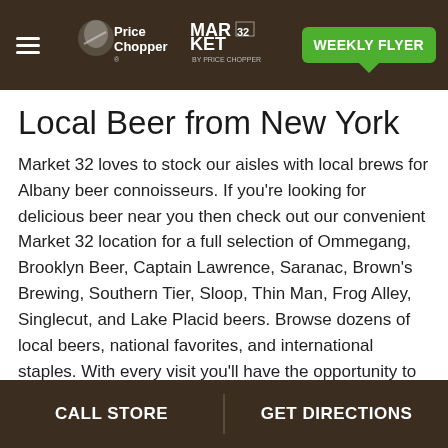Price Chopper / Market 32 — WEEKLY FLYER
Local Beer from New York
Market 32 loves to stock our aisles with local brews for Albany beer connoisseurs. If you're looking for delicious beer near you then check out our convenient Market 32 location for a full selection of Ommegang, Brooklyn Beer, Captain Lawrence, Saranac, Brown's Brewing, Southern Tier, Sloop, Thin Man, Frog Alley, Singlecut, and Lake Placid beers. Browse dozens of local beers, national favorites, and international staples. With every visit you'll have the opportunity to experience something new or choose your longtime favorites. We love being a convenient beer destination for our customers.
CALL STORE | GET DIRECTIONS